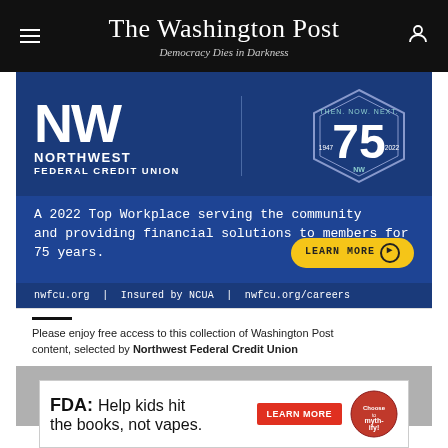The Washington Post
Democracy Dies in Darkness
[Figure (illustration): Northwest Federal Credit Union advertisement banner with NW logo, 75th anniversary badge (1947-2022), blue background. Text: 'A 2022 Top Workplace serving the community and providing financial solutions to members for 75 years.' with a yellow 'LEARN MORE' button. Footer: 'nwfcu.org | Insured by NCUA | nwfcu.org/careers']
Please enjoy free access to this collection of Washington Post content, selected by Northwest Federal Credit Union
[Figure (illustration): FDA advertisement: 'FDA: Help kids hit the books, not vapes.' with a red 'LEARN MORE' button and a circular logo.]